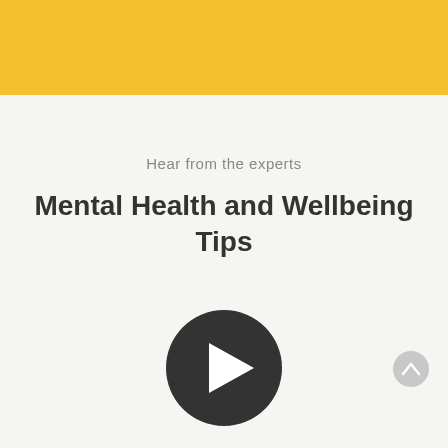[Figure (illustration): Yellow/gold banner at the top of the page]
Hear from the experts
Mental Health and Wellbeing Tips
[Figure (other): Dark circular play button with white triangle pointing right]
[Figure (other): Light grey circular scroll-to-top button with upward chevron arrow]